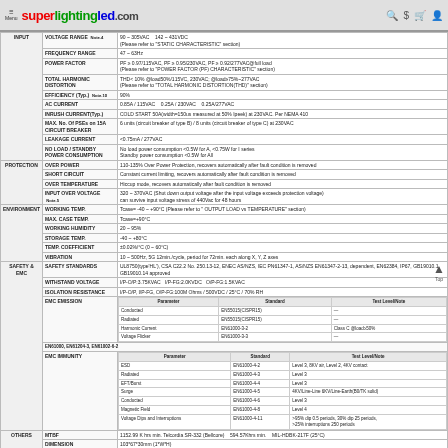superlightingled.com
| Category | Parameter | Value |
| --- | --- | --- |
| INPUT | VOLTAGE RANGE Note.4 | 90 ~ 305VAC    142 ~ 431VDC (Please refer to 'STATIC CHARACTERISTIC' section) |
|  | FREQUENCY RANGE | 47 ~ 63Hz |
|  | POWER FACTOR | PF >= 0.97/115VAC, PF >= 0.95/230VAC, PF >= 0.92/277VAC@full load (Please refer to 'POWER FACTOR (PF) CHARACTERISTIC' section) |
|  | TOTAL HARMONIC DISTORTION | THD< 10% @load50%/115VC, 230VAC; @load675%~277VAC (Please refer to 'TOTAL HARMONIC DISTORTION(THD)' section) |
|  | EFFICIENCY (Typ.) Note.10 | 90% |
|  | AC CURRENT | 0.85A / 115VAC    0.25A / 230VAC    0.25A/277VAC |
|  | INRUSH CURRENT(Typ.) | COLD START 50A(width=150us measured at 50% lpeek) at 230VAC. Per NEMA 410 |
|  | MAX. No. Of PSEs on 15A CIRCUIT BREAKER | 6 units (circuit breaker of type B) / 8 units (circuit breaker of type C) at 230VAC |
|  | LEAKAGE CURRENT | <0.75mA / 277VAC |
|  | NO LOAD / STANDBY POWER CONSUMPTION | No load power consumption <0.5W for A, <0.75W for I series; Standby power consumption <0.5W for All |
| PROTECTION | OVER POWER | 110-135% Over Power Protection, recovers automatically after fault condition is removed |
|  | SHORT CIRCUIT | Constant current limiting, recovers automatically after fault condition is removed |
|  | OVER TEMPERATURE | Hiccup mode, recovers automatically after fault condition is removed |
|  | INPUT OVER VOLTAGE Note.5 | 320 ~ 370VAC (Shut down output voltage after the input voltage exceeds protection voltage); can survive input voltage stress of 440Vac for 48 hours |
| ENVIRONMENT | WORKING TEMP. | Tcase= -40 ~ +90°C  (Please refer to 'OUTPUT LOAD vs TEMPERATURE' section) |
|  | MAX. CASE TEMP. | Tcase=+90°C |
|  | WORKING HUMIDITY | 20 ~ 95% |
|  | STORAGE TEMP. | -40 ~ +80°C |
|  | TEMP. COEFFICIENT | ±0.02%/°C (0 ~ 60°C) |
|  | VIBRATION | 10 ~ 500Hz, 5G 12min./cycle, period for 72min. each along X, Y, Z axes |
| SAFETY & EMC | SAFETY STANDARDS | UL8750(type'HL'), CSA C22.2 No. 250.13-12, ENEC AS/NZS, IEC PN61347-1, AS/NZS EN61347-2-13, dependent, EN62384, IP67, GB19010.1, GB19010.14 approved |
|  | WITHSTAND VOLTAGE | I/P-O/P:3.75KVAC  I/P-FG:2.0KVDC  O/P-FG:1.5KVAC |
|  | ISOLATION RESISTANCE | I/P-O/P, I/P-FG, O/P-FG:100M Ohms / 500VDC / 25°C / 70% RH |
|  | EMC EMISSION | Parameter/Standard/Test Level/Note: Conducted EN55015(CISPR15) —; Radiated EN55015(CISPR15) —; Harmonic Current EN61000-3-2 Class C @load>50%; Voltage Flicker EN61000-3-3 — |
|  | EMC IMMUNITY | EN61000, EN61204-3, EN61002-6-2; Parameter/Standard/Test Level/Note: ESD EN61000-4-2 Level 3, 8KV air, Level 2, 4KV contact; Radiated EN61000-4-3 Level 3; EFT/Burst EN61000-4-4 Level 3; Surge EN61000-4-5 4KV/Line-Line 6KV/Line-Earth(B0/TK solid); Conducted EN61000-4-6 Level 3; Magnetic Field EN61000-4-8 Level 4; Voltage Dips and Interruptions EN61000-4-11 >95% dip 0.5 periods 30% dip 25 periods >25% interruptions 250 periods |
| OTHERS | MTBF | 1152.99 K hrs min. Telcordia SR-332 (Bellcore)    594.57Khrs min.    MIL-HDBK-217F (25°C) |
|  | DIMENSION | 103*67*30mm (1*W*H) |
|  | PACKING | 0.41Kg; 24pcs/ 11.06Kg/0.08CUFT for A-type    0.41Kg; 24pcs/ 11Kg/0.68CUFT for AB-type |
1. All parameters NOT specially mentioned are measured at 230VAC input, rated current and 25°C of ambient temperature.